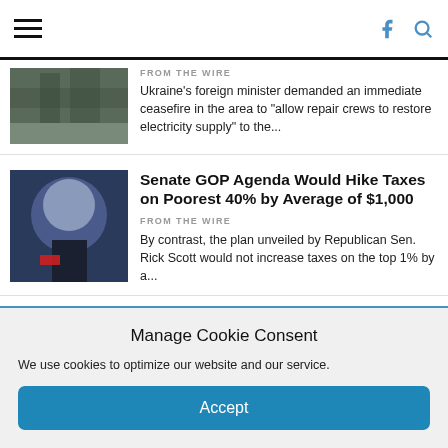Navigation bar with hamburger menu, Facebook icon, and search icon
FROM THE WIRE
Ukraine's foreign minister demanded an immediate ceasefire in the area to "allow repair crews to restore electricity supply" to the...
Senate GOP Agenda Would Hike Taxes on Poorest 40% by Average of $1,000
FROM THE WIRE
By contrast, the plan unveiled by Republican Sen. Rick Scott would not increase taxes on the top 1% by a...
Nuclear plant on fire after Russian shelling
FROM THE WIRE
Manage Cookie Consent
We use cookies to optimize our website and our service.
Accept